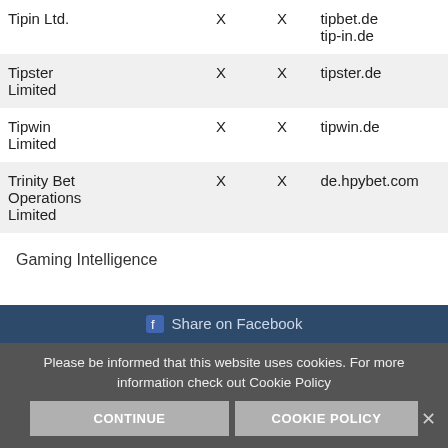| Tipin Ltd. | X | X | tipbet.de
tip-in.de |
| Tipster Limited | X | X | tipster.de |
| Tipwin Limited | X | X | tipwin.de |
| Trinity Bet Operations Limited | X | X | de.hpybet.com |
Gaming Intelligence
[Figure (screenshot): Cookie consent overlay with Share on Facebook button, cookie notice text, CONTINUE and COOKIE POLICY buttons, and a close X button]